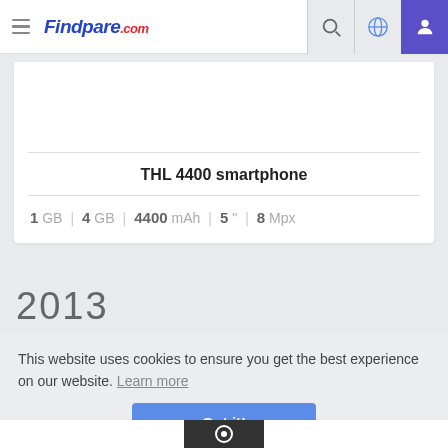Findpare.com
THL 4400 smartphone
1 GB | 4 GB | 4400 mAh | 5 " | 8 Mpx
2013
This website uses cookies to ensure you get the best experience on our website. Learn more
Got it!